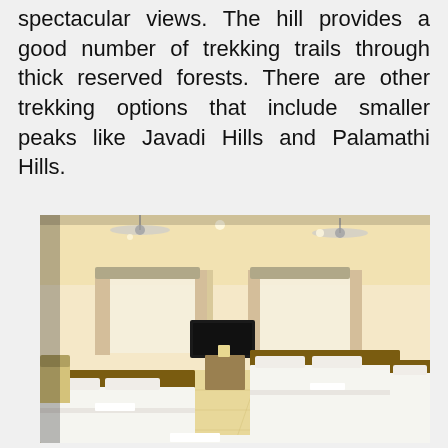spectacular views. The hill provides a good number of trekking trails through thick reserved forests. There are other trekking options that include smaller peaks like Javadi Hills and Palamathi Hills.
[Figure (photo): Interior of a hotel room with multiple beds with white linen, wooden headboards, ceiling fans, air conditioning units, curtained windows, a wall-mounted TV, and warm beige walls and floor tiles.]